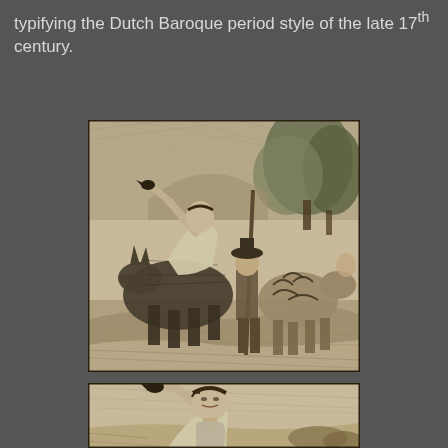typifying the Dutch Baroque period style of the late 17th century.
[Figure (illustration): A black and white engraving showing a woman riding a donkey with her arm raised holding a small bird, accompanied by a man with a lance and other figures with animals, in a Dutch Baroque style landscape.]
[Figure (illustration): A close-up detail of the same engraving showing the upper portion with the woman's face and raised arm holding a bird.]